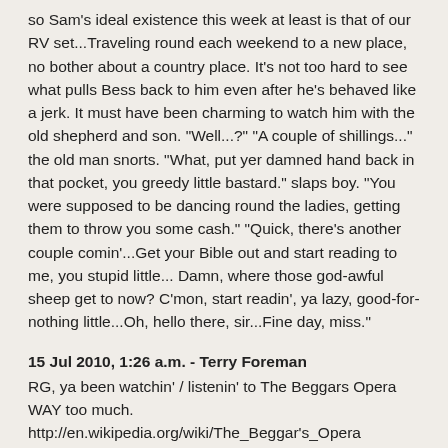so Sam's ideal existence this week at least is that of our RV set...Traveling round each weekend to a new place, no bother about a country place. It's not too hard to see what pulls Bess back to him even after he's behaved like a jerk. It must have been charming to watch him with the old shepherd and son. "Well...?" "A couple of shillings..." the old man snorts. "What, put yer damned hand back in that pocket, you greedy little bastard." slaps boy. "You were supposed to be dancing round the ladies, getting them to throw you some cash." "Quick, there's another couple comin'...Get your Bible out and start reading to me, you stupid little... Damn, where those god-awful sheep get to now? C'mon, start readin', ya lazy, good-for-nothing little...Oh, hello there, sir...Fine day, miss."
15 Jul 2010, 1:26 a.m. - Terry Foreman
RG, ya been watchin' / listenin' to The Beggars Opera WAY too much.
http://en.wikipedia.org/wiki/The_Beggar's_Opera